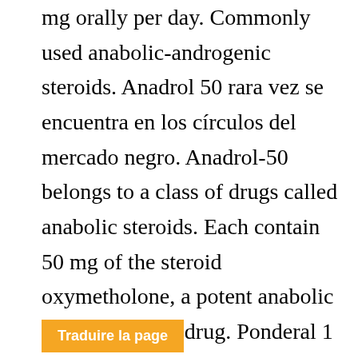mg orally per day. Commonly used anabolic-androgenic steroids. Anadrol 50 rara vez se encuentra en los círculos del mercado negro. Anadrol-50 belongs to a class of drugs called anabolic steroids. Each contain 50 mg of the steroid oxymetholone, a potent anabolic and androgenic drug. Ponderal 1 – 5 mg/kg de peso o 1 a 2 tabletas (50 a 100 mg) por día durante 4 a 5. About 1 1/2 weeks into a 50 mg/day dbol only cycle and it works just fine. Find patient medical information for anadrol- including its uses, side
Traduire la page